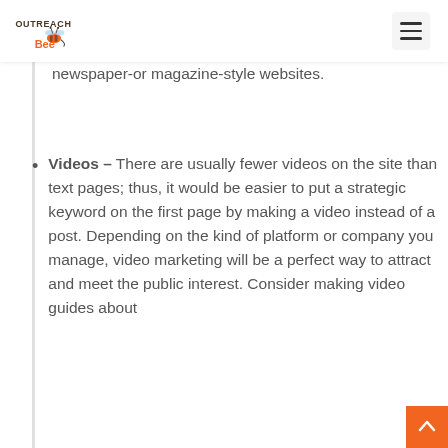Outreach Bee [logo] [hamburger menu]
newspaper-or magazine-style websites.
Videos – There are usually fewer videos on the site than text pages; thus, it would be easier to put a strategic keyword on the first page by making a video instead of a post. Depending on the kind of platform or company you manage, video marketing will be a perfect way to attract and meet the public interest. Consider making video guides about